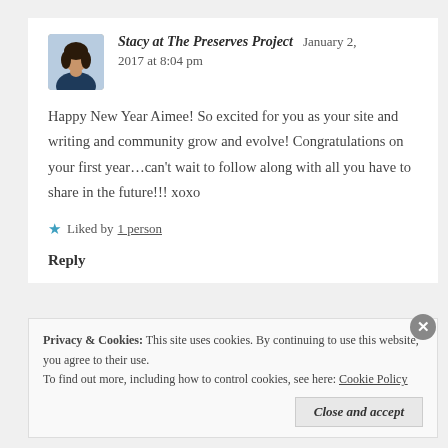[Figure (photo): Profile photo of a woman with dark curly hair wearing a dark jacket, shown in a small square avatar]
Stacy at The Preserves Project   January 2, 2017 at 8:04 pm
Happy New Year Aimee! So excited for you as your site and writing and community grow and evolve! Congratulations on your first year...can't wait to follow along with all you have to share in the future!!! xoxo
★ Liked by 1 person
Reply
Privacy & Cookies: This site uses cookies. By continuing to use this website, you agree to their use.
To find out more, including how to control cookies, see here: Cookie Policy
Close and accept